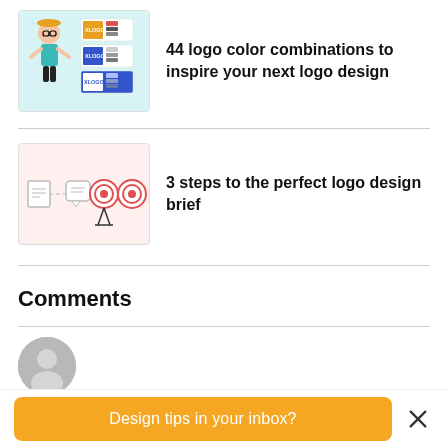[Figure (illustration): Thumbnail image showing a cartoon character and logo color palette swatches for the article about 44 logo color combinations]
44 logo color combinations to inspire your next logo design
[Figure (illustration): Thumbnail image showing a flowchart with icons for brief, chat, target, and bullseye representing the 3 steps to the perfect logo design brief]
3 steps to the perfect logo design brief
Comments
[Figure (illustration): Generic user avatar circle icon in grey]
Design tips in your inbox?